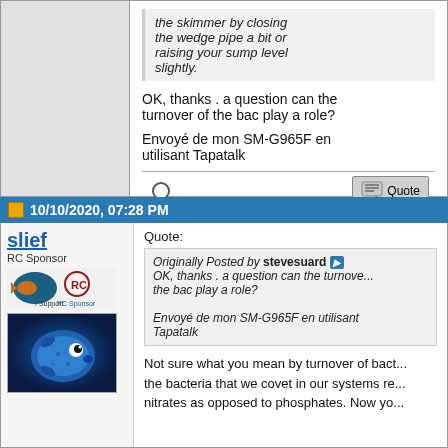the skimmer by closing the wedge pipe a bit or raising your sump level slightly.
OK, thanks . a question can the turnover of the bac play a role?
Envoyé de mon SM-G965F en utilisant Tapatalk
10/10/2020, 07:28 PM
slief
RC Sponsor
Quote:
Originally Posted by stevesuard
OK, thanks . a question can the turnover of the bac play a role?

Envoyé de mon SM-G965F en utilisant Tapatalk
Not sure what you mean by turnover of bact... the bacteria that we covet in our systems red... nitrates as opposed to phosphates. Now yo...